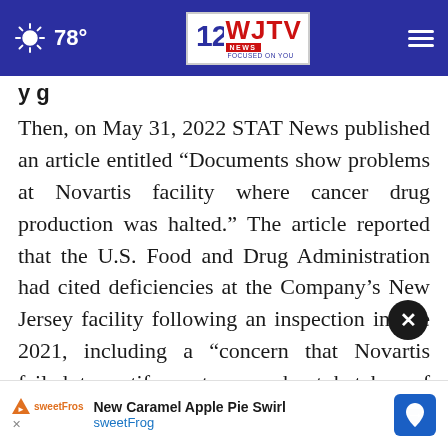78° | WJTV 12 NEWS FOCUSED ON YOU
y g
Then, on May 31, 2022 STAT News published an article entitled “Documents show problems at Novartis facility where cancer drug production was halted.” The article reported that the U.S. Food and Drug Administration had cited deficiencies at the Company’s New Jersey facility following an inspection in late 2021, including a “concern that Novartis failed to notify customers about batches of Kymrera… that … meet
[Figure (other): Advertisement banner: New Caramel Apple Pie Swirl from sweetFrog with map icon and close button overlay]